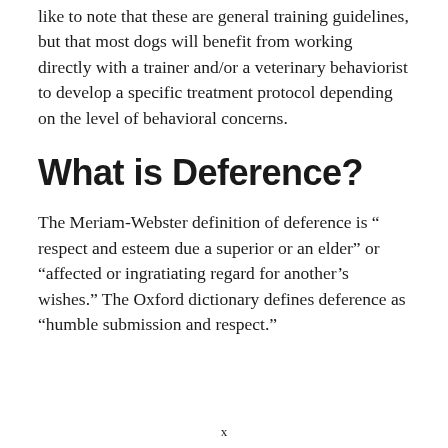like to note that these are general training guidelines, but that most dogs will benefit from working directly with a trainer and/or a veterinary behaviorist to develop a specific treatment protocol depending on the level of behavioral concerns.
What is Deference?
The Meriam-Webster definition of deference is “ respect and esteem due a superior or an elder” or “affected or ingratiating regard for another’s wishes.” The Oxford dictionary defines deference as “humble submission and respect.”
x